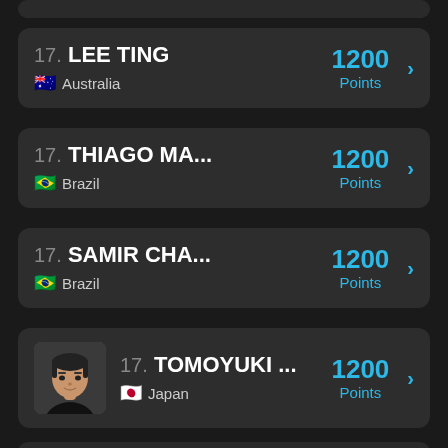17. LEE TING — Australia — 1200 Points
17. THIAGO MA... — Brazil — 1200 Points
17. SAMIR CHA... — Brazil — 1200 Points
17. TOMOYUKI ... — Japan — 1200 Points